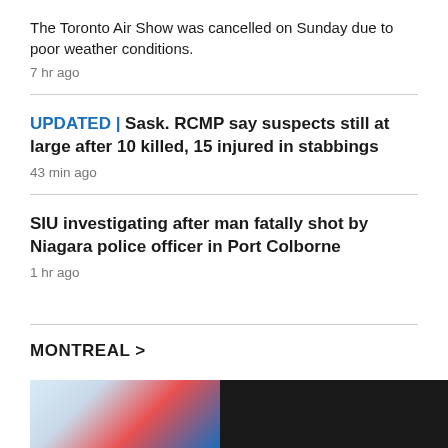The Toronto Air Show was cancelled on Sunday due to poor weather conditions.
7 hr ago
UPDATED | Sask. RCMP say suspects still at large after 10 killed, 15 injured in stabbings
43 min ago
SIU investigating after man fatally shot by Niagara police officer in Port Colborne
1 hr ago
MONTREAL >
[Figure (photo): Partial photo strip at bottom of page showing a person with blue and red background on the left, dark black area on the right]